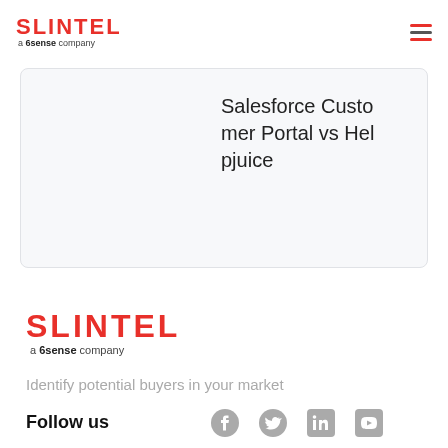SLINTEL a 6sense company
Salesforce Customer Portal vs Helpjuice
[Figure (logo): SLINTEL a 6sense company logo (large, red text)]
Identify potential buyers in your market
Follow us
[Figure (illustration): Social media icons: Facebook, Twitter, LinkedIn, YouTube]